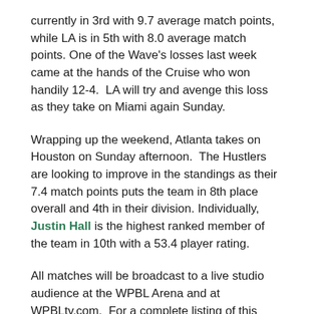currently in 3rd with 9.7 average match points, while LA is in 5th with 8.0 average match points. One of the Wave's losses last week came at the hands of the Cruise who won handily 12-4.  LA will try and avenge this loss as they take on Miami again Sunday.
Wrapping up the weekend, Atlanta takes on Houston on Sunday afternoon.  The Hustlers are looking to improve in the standings as their 7.4 match points puts the team in 8th place overall and 4th in their division. Individually, Justin Hall is the highest ranked member of the team in 10th with a 53.4 player rating.
All matches will be broadcast to a live studio audience at the WPBL Arena and at WPBLtv.com.  For a complete listing of this weekend's schedule, standings, merchandise and more visit the WPBL website.  Please continue to follow the WPBL for additional updates: